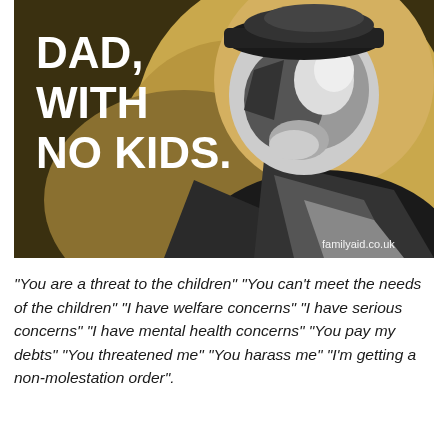[Figure (illustration): Pop-art style illustration of a man in a baseball cap looking up, rendered in gold, tan, black, grey, and white tones. Large white bold text on the left reads 'Dad, With No Kids.' Website watermark 'familyaid.co.uk' appears in bottom right corner.]
"You are a threat to the children" "You can't meet the needs of the children" "I have welfare concerns" "I have serious concerns" "I have mental health concerns" "You pay my debts" "You threatened me" "You harass me" "I'm getting a non-molestation order".